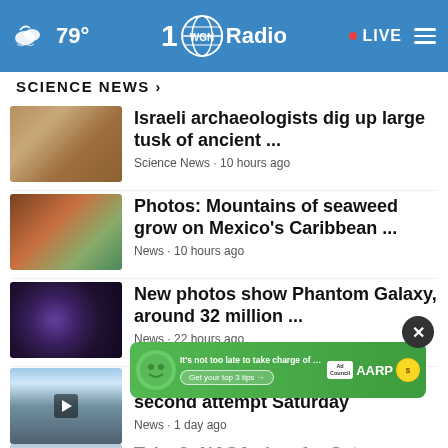79° WGN Radio • LIVE
SCIENCE NEWS ›
Israeli archaeologists dig up large tusk of ancient ...
Science News · 10 hours ago
Photos: Mountains of seaweed grow on Mexico's Caribbean ...
News · 10 hours ago
New photos show Phantom Galaxy, around 32 million ...
News · 22 hours ago
Artemis I launch: NASA to make second attempt Saturday
News · 1 day ago
Take 2: NASA aims for Saturday...
It's not too late to take charge of your retirement. Get your top 3 tips → Ad Council AARP Real Possibilities